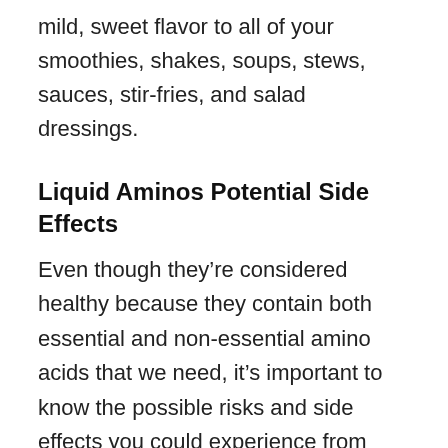mild, sweet flavor to all of your smoothies, shakes, soups, stews, sauces, stir-fries, and salad dressings.
Liquid Aminos Potential Side Effects
Even though they’re considered healthy because they contain both essential and non-essential amino acids that we need, it’s important to know the possible risks and side effects you could experience from liquid amino acids. They don’t contain wheat, so you won’t have to worry about wheat or gluten causing any health problems. However, they do contain